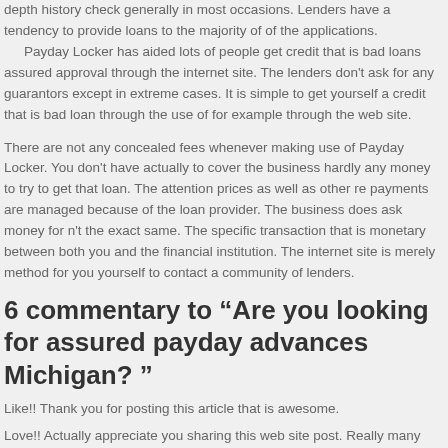depth history check generally in most occasions. Lenders have a tendency to provide loans to the majority of of the applications.
Payday Locker has aided lots of people get credit that is bad loans assured approval through the internet site. The lenders don't ask for any guarantors except in extreme cases. It is simple to get yourself a credit that is bad loan through the use of for example through the web site.
There are not any concealed fees whenever making use of Payday Locker. You don't have actually to cover the business hardly any money to try to get that loan. The attention prices as well as other re payments are managed because of the loan provider. The business does ask money for n't the exact same. The specific transaction that is monetary between both you and the financial institution. The internet site is merely method for you yourself to contact a community of lenders.
6 commentary to “Are you looking for assured payday advances Michigan? ”
Like!! Thank you for posting this article that is awesome.
Love!! Actually appreciate you sharing this web site post. Really many